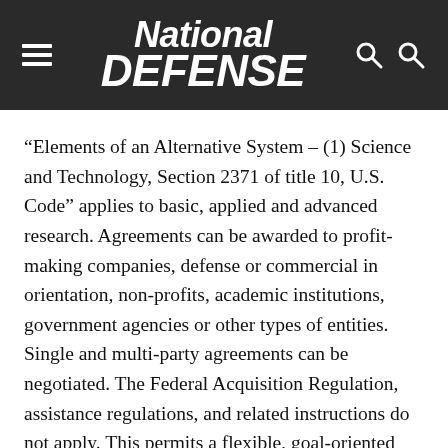National Defense
“Elements of an Alternative System – (1) Science and Technology, Section 2371 of title 10, U.S. Code” applies to basic, applied and advanced research. Agreements can be awarded to profit-making companies, defense or commercial in orientation, non-profits, academic institutions, government agencies or other types of entities. Single and multi-party agreements can be negotiated. The Federal Acquisition Regulation, assistance regulations, and related instructions do not apply. This permits a flexible, goal-oriented freedom of contract method of contracting.